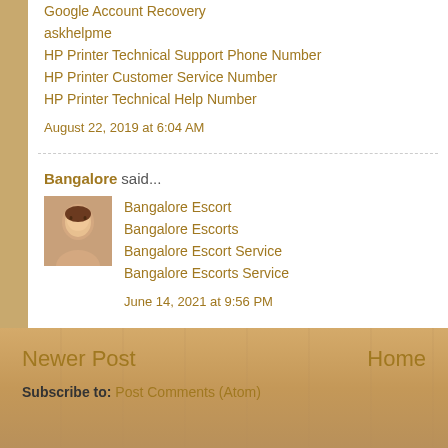Google Account Recovery
askhelpme
HP Printer Technical Support Phone Number
HP Printer Customer Service Number
HP Printer Technical Help Number
August 22, 2019 at 6:04 AM
Bangalore said...
Bangalore Escort
Bangalore Escorts
Bangalore Escort Service
Bangalore Escorts Service
June 14, 2021 at 9:56 PM
Post a Comment
Newer Post   Home   Subscribe to: Post Comments (Atom)